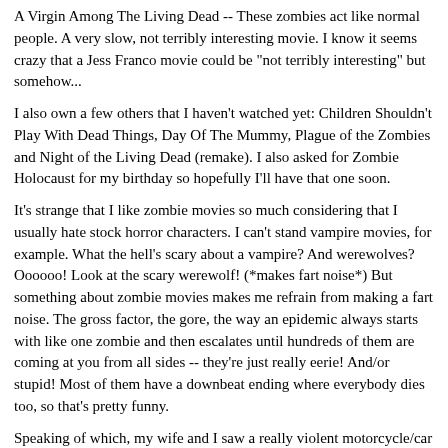A Virgin Among The Living Dead -- These zombies act like normal people. A very slow, not terribly interesting movie. I know it seems crazy that a Jess Franco movie could be "not terribly interesting" but somehow...
I also own a few others that I haven't watched yet: Children Shouldn't Play With Dead Things, Day Of The Mummy, Plague of the Zombies and Night of the Living Dead (remake). I also asked for Zombie Holocaust for my birthday so hopefully I'll have that one soon.
It's strange that I like zombie movies so much considering that I usually hate stock horror characters. I can't stand vampire movies, for example. What the hell's scary about a vampire? And werewolves? Oooooo! Look at the scary werewolf! (*makes fart noise*) But something about zombie movies makes me refrain from making a fart noise. The gross factor, the gore, the way an epidemic always starts with like one zombie and then escalates until hundreds of them are coming at you from all sides -- they're just really eerie! And/or stupid! Most of them have a downbeat ending where everybody dies too, so that's pretty funny.
Speaking of which, my wife and I saw a really violent motorcycle/car accident a couple days ago. A car stopped short and the motorcyclist behind him skidded under the back of the car, then flew off his bike and flipped/bounced all over the road three